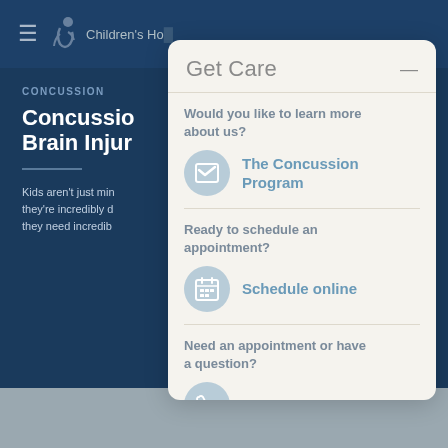[Figure (screenshot): Children's Hospital website header with hamburger menu and logo on dark blue background]
CONCUSSION
Concussion & Brain Injury
Kids aren't just miniature adults — they're incredibly different, and they need incredibly different care.
Get Care
Would you like to learn more about us?
The Concussion Program
Ready to schedule an appointment?
Schedule online
Need an appointment or have a question?
720-777-2806